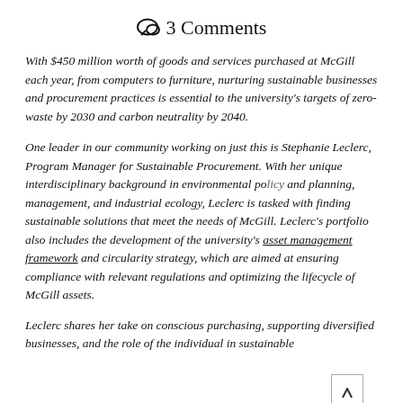💬 3 Comments
With $450 million worth of goods and services purchased at McGill each year, from computers to furniture, nurturing sustainable businesses and procurement practices is essential to the university's targets of zero-waste by 2030 and carbon neutrality by 2040.
One leader in our community working on just this is Stephanie Leclerc, Program Manager for Sustainable Procurement. With her unique interdisciplinary background in environmental policy and planning, management, and industrial ecology, Leclerc is tasked with finding sustainable solutions that meet the needs of McGill. Leclerc's portfolio also includes the development of the university's asset management framework and circularity strategy, which are aimed at ensuring compliance with relevant regulations and optimizing the lifecycle of McGill assets.
Leclerc shares her take on conscious purchasing, supporting diversified businesses, and the role of the individual in sustainable